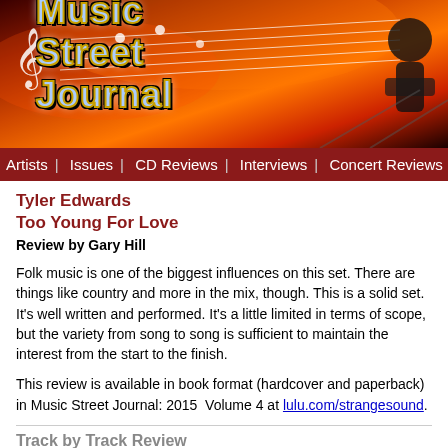[Figure (illustration): Music Street Journal banner with fire/red background, musical notes, guitarist silhouette, and large stylized 'Music Street Journal' logo text in blue/silver with yellow border]
Artists | Issues | CD Reviews | Interviews | Concert Reviews | DVD/
Tyler Edwards
Too Young For Love
Review by Gary Hill
Folk music is one of the biggest influences on this set. There are things like country and more in the mix, though. This is a solid set. It's well written and performed. It's a little limited in terms of scope, but the variety from song to song is sufficient to maintain the interest from the start to the finish.
This review is available in book format (hardcover and paperback) in Music Street Journal: 2015  Volume 4 at lulu.com/strangesound.
Track by Track Review
Headed for the Coast
The opener is an energetic acoustic based number. Country and folk merge here. layers of sound.